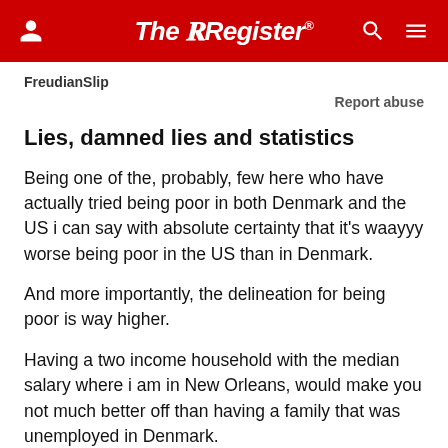The Register
FreudianSlip
Report abuse
Lies, damned lies and statistics
Being one of the, probably, few here who have actually tried being poor in both Denmark and the US i can say with absolute certainty that it's waayyy worse being poor in the US than in Denmark.
And more importantly, the delineation for being poor is way higher.
Having a two income household with the median salary where i am in New Orleans, would make you not much better off than having a family that was unemployed in Denmark.
And therein lies a huge part of the discrepancy.
Being "poor" is not quantifiable by the same metrics in